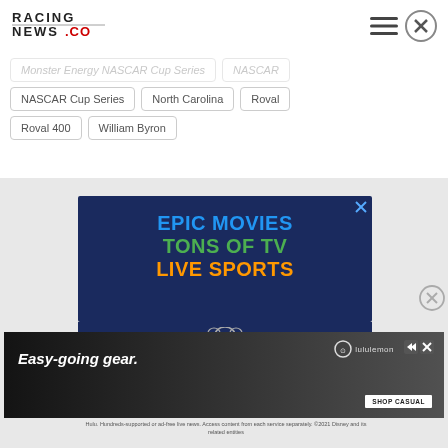[Figure (logo): Racing News .co logo in top left]
Monster Energy NASCAR Cup Series
NASCAR
NASCAR Cup Series
North Carolina
Roval
Roval 400
William Byron
[Figure (screenshot): Advertisement banner: EPIC MOVIES / TONS OF TV / LIVE SPORTS on dark blue background]
[Figure (photo): Advertisement: Easy-going gear. lululemon SHOP CASUAL - person in car with lululemon branding]
Hulu. Hundreds-supported or ad-free live news. Access content from each service separately. ©2021 Disney and its related entities